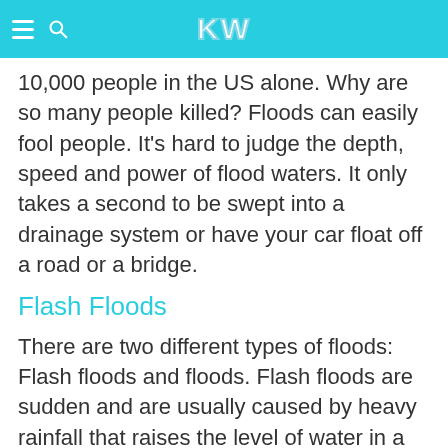KW
10,000 people in the US alone. Why are so many people killed? Floods can easily fool people. It's hard to judge the depth, speed and power of flood waters. It only takes a second to be swept into a drainage system or have your car float off a road or a bridge.
Flash Floods
There are two different types of floods: Flash floods and floods. Flash floods are sudden and are usually caused by heavy rainfall that raises the level of water in a river, stream or other body of water. It doesn't take long (a few hours) before...